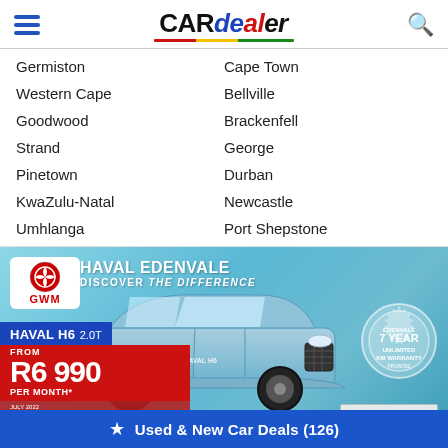[Figure (logo): CARdealer logo with hamburger menu and search icon]
Germiston
Cape Town
Western Cape
Bellville
Goodwood
Brackenfell
Strand
George
Pinetown
Durban
KwaZulu-Natal
Newcastle
Umhlanga
Port Shepstone
[Figure (photo): GWM Haval Edenvale advertisement banner showing Haval H6 2.0T SUV in blue, priced from R6 990 per month, with 7 Year Unlimited KM Warranty badge and Skip ad in 3 button]
Used & New Car Deals (126)